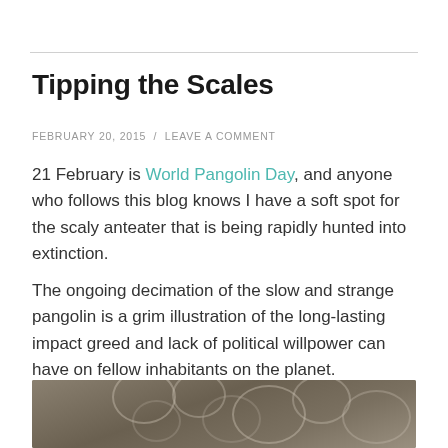Tipping the Scales
FEBRUARY 20, 2015 / LEAVE A COMMENT
21 February is World Pangolin Day, and anyone who follows this blog knows I have a soft spot for the scaly anteater that is being rapidly hunted into extinction.
The ongoing decimation of the slow and strange pangolin is a grim illustration of the long-lasting impact greed and lack of political willpower can have on fellow inhabitants on the planet.
[Figure (photo): Close-up photo of a pangolin showing its distinctive overlapping scales, in muted brown/grey tones]